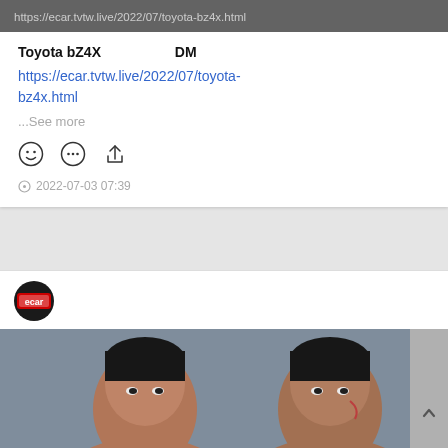https://ecar.tvtw.live/2022/07/toyota-bz4x.html
Toyota bZ4X 　　　　　　　　DM
https://ecar.tvtw.live/2022/07/toyota-bz4x.html
...See more
2022-07-03 07:39
[Figure (photo): Two Asian men facing forward, appears to be a movie or TV still. One younger man on the left, one older man on the right with a mark on his face.]